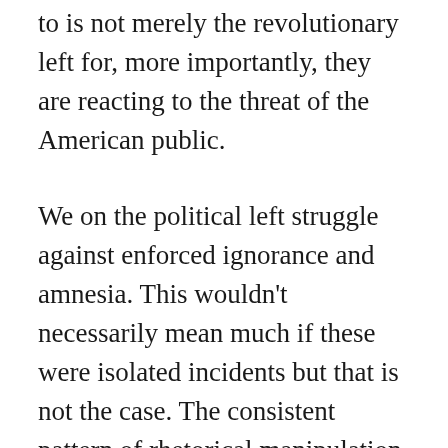to is not merely the revolutionary left for, more importantly, they are reacting to the threat of the American public.
We on the political left struggle against enforced ignorance and amnesia. This wouldn't necessarily mean much if these were isolated incidents but that is not the case. The consistent pattern of rhetorical manipulation and ideological game-playing can be seen across the centuries and it has a lasting impact on the entire society, distorting everything and destroying any hope of a free and